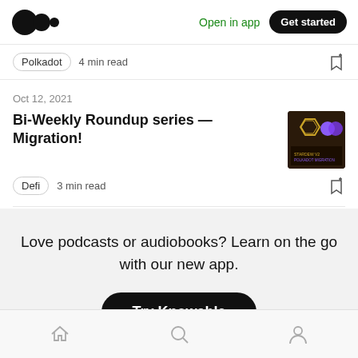Open in app  Get started
Polkadot  4 min read
Oct 12, 2021
Bi-Weekly Roundup series — Migration!
Defi  3 min read
Love podcasts or audiobooks? Learn on the go with our new app.
Try Knowable